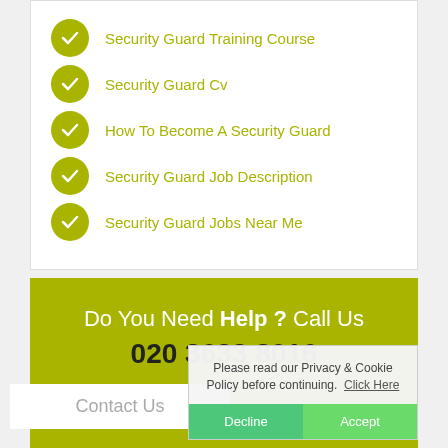Security Guard Training Course
Security Guard Cv
How To Become A Security Guard
Security Guard Job Description
Security Guard Jobs Near Me
Do You Need Help ? Call Us
020 3633 8016
Contact Us
Please read our Privacy & Cookie Policy before continuing. Click Here
Decline
Accept